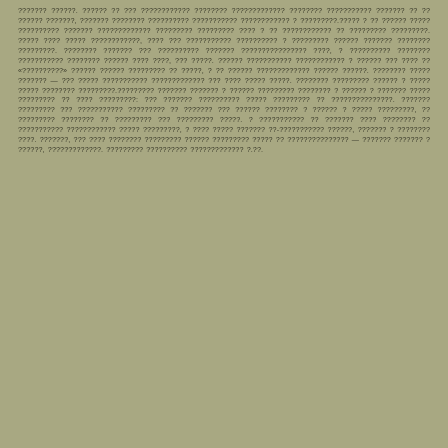??????? ??????. ?????? ?? ??? ???????????? ???????? ????????????? ???????? ??????????? ??????? ?? ?? ?????? ???????, ??????? ???????? ?????????? ??????????? ???????????? ? ?????????.????? ? ?? ?????? ????? ?????????? ??????? ????????????? ????????? ????????? ???? ? ?? ???????????? ?? ????????? ?????????. ????? ???? ????? ????????????, ???? ??? ??????????? ?????????? ? ????????? ?????? ??????? ???????? ?????????. ???????? ??????? ??? ?????????? ??????? ???????????????? ????, ? ?????????? ???????? ??????????? ???????? ?????? ???? ????, ??? ?????. ?????? ??????????? ???????????? ? ?????? ??? ???? ?? «??????????» ?????? ?????? ????????? ?? ?????, ? ?? ?????? ????????????? ?????? ??????. ???????? ????? ??????? — ??? ????? ??????????? ????????????? ??? ???? ????? ?????. ???????? ????????? ?????? ? ????? ????? ???????? ?????????.????????? ??????? ??????? ? ?????? ????????? ???????? ? ?????? ? ??????? ????? ????????? ?? ???? ?????????: ??? ??????? ?????????? ????? ????????? ?? ???????????????. ??????? ????????? ??? ??????????? ????????? ?? ??????? ??? ?????? ???????? ? ?????? ? ????? ?????????, ?? ????????? ???????? ?? ????????? ??? ????????? ?????. ? ??????????? ?? ??????? ???? ???????? ?? ??????????? ???????????? ????? ?????????, ? ???? ????? ??????? ??-??????????? ??????, ??????? ? ???????? ????. ???????, ??? ???? ???????? ????????? ?????? ????????? ????? ?? ??????????????? — ??????? ??????? ? ??????, ?????????????. ????????? ?????????? ????????????? ?.??.